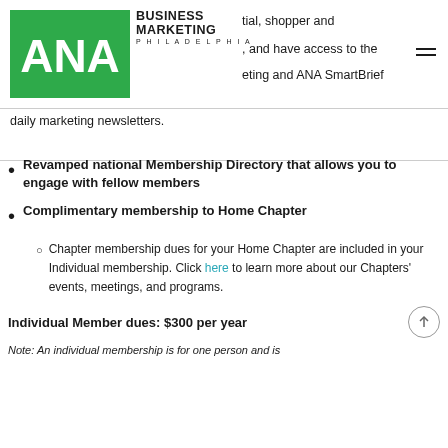ANA Business Marketing Philadelphia
tial, shopper and [partial], and have access to the [icon] eting and ANA SmartBrief daily marketing newsletters.
Revamped national Membership Directory that allows you to engage with fellow members
Complimentary membership to Home Chapter
Chapter membership dues for your Home Chapter are included in your Individual membership. Click here to learn more about our Chapters' events, meetings, and programs.
Individual Member dues: $300 per year
Note: An individual membership is for one person and is